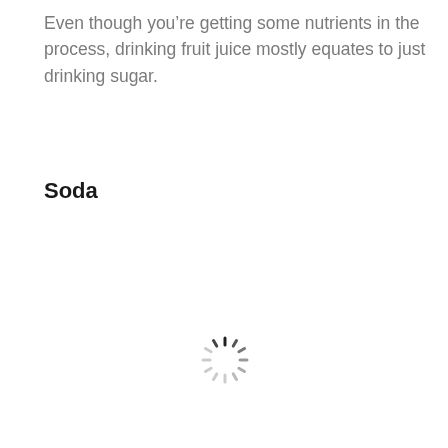Even though you’re getting some nutrients in the process, drinking fruit juice mostly equates to just drinking sugar.
Soda
[Figure (other): Loading spinner icon (circular dashed spinner animation indicator)]